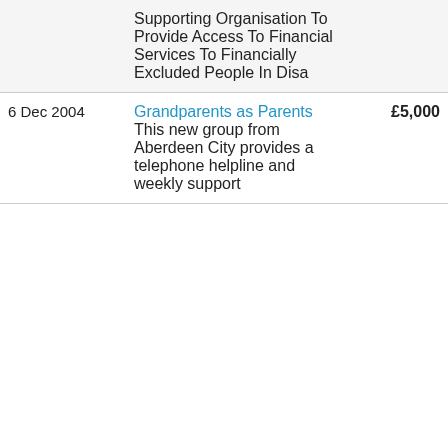| Date | Organisation / Description | Amount | Type |
| --- | --- | --- | --- |
|  | Supporting Organisation To Provide Access To Financial Services To Financially Excluded People In Disa |  |  |
| 6 Dec 2004 | Grandparents as Parents
This new group from Aberdeen City provides a telephone helpline and weekly support... | £5,000 | Community R... |